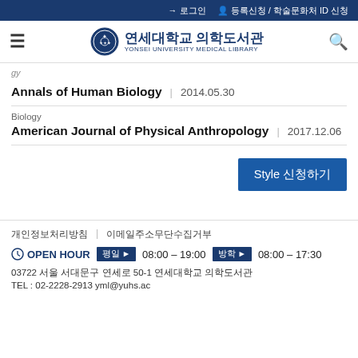로그인   등록신청 / 학술문화처 ID 신청
[Figure (logo): 연세대학교 의학도서관 (Yonsei University Medical Library) logo with circular emblem]
gy
Annals of Human Biology  |  2014.05.30
Biology
American Journal of Physical Anthropology  |  2017.12.06
Style 신청하기
개인정보처리방침  |  이메일주소무단수집거부
OPEN HOUR  평일  08:00 – 19:00  방학  08:00 – 17:30
03722 서울 서대문구 연세로 50-1 연세대학교 의학도서관
TEL : 02-2228-2913  yml@yuhs.ac